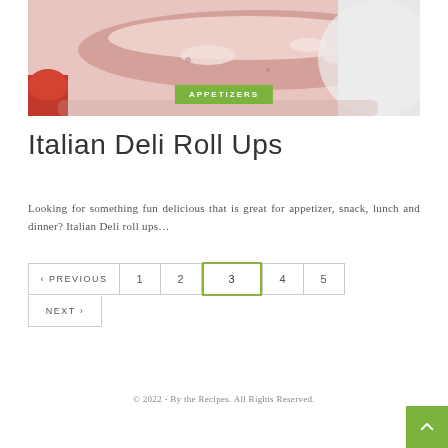[Figure (photo): Close-up photo of Italian deli roll ups (rolled deli meat) with a red/orange piece visible at bottom left, on a white surface. Green 'APPETIZERS' badge overlaid at bottom center.]
Italian Deli Roll Ups
Looking for something fun delicious that is great for appetizer, snack, lunch and dinner? Italian Deli roll ups…
‹ PREVIOUS | 1 | 2 | 3 | 4 | 5
NEXT ›
© 2022 - By the Recipes. All Rights Reserved.